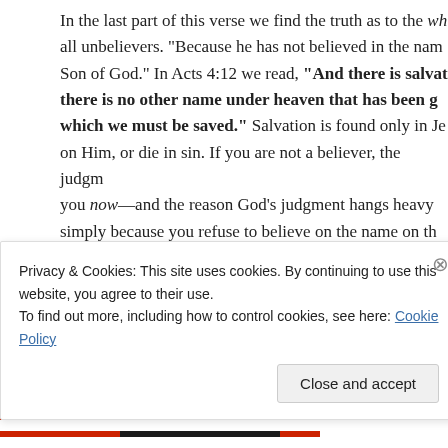In the last part of this verse we find the truth as to the wh all unbelievers. "Because he has not believed in the nam Son of God." In Acts 4:12 we read, "And there is salvat there is no other name under heaven that has been g which we must be saved." Salvation is found only in Je on Him, or die in sin. If you are not a believer, the judgm you now—and the reason God's judgment hangs heavy simply because you refuse to believe on the name on th
CATEGORY: BIBLE, CHRIST, CHRISTIAN, CHRISTIAN LIVING, CHRISTIA GOD, JESUS, RELIGION, SCRIPTURE
Privacy & Cookies: This site uses cookies. By continuing to use this website, you agree to their use. To find out more, including how to control cookies, see here: Cookie Policy